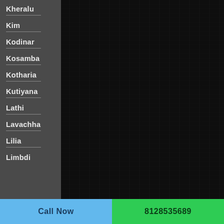Kheralu
Kim
Kodinar
Kosamba
Kotharia
Kutiyana
Lathi
Lavachha
Lilia
Limbdi
Call Now
8128535689